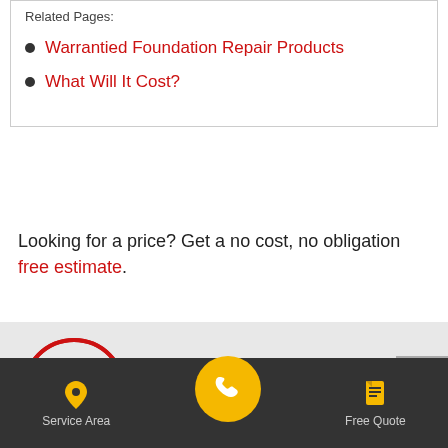Warrantied Foundation Repair Products
What Will It Cost?
Looking for a price? Get a no cost, no obligation free estimate.
[Figure (logo): Red circular foundation repair logo with brick pattern]
FOUNDATION REPAIR
[Figure (infographic): Bottom navigation bar with Service Area (pin icon), phone call button (yellow circle), and Free Quote (document icon)]